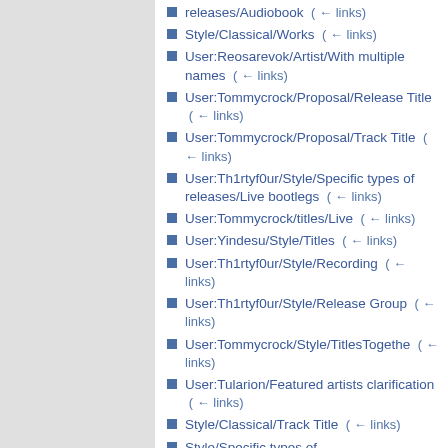releases/Audiobook  (← links)
Style/Classical/Works  (← links)
User:Reosarevok/Artist/With multiple names  (← links)
User:Tommycrock/Proposal/Release Title  (← links)
User:Tommycrock/Proposal/Track Title  (← links)
User:Th1rtyf0ur/Style/Specific types of releases/Live bootlegs  (← links)
User:Tommycrock/titles/Live  (← links)
User:Yindesu/Style/Titles  (← links)
User:Th1rtyf0ur/Style/Recording  (← links)
User:Th1rtyf0ur/Style/Release Group  (← links)
User:Tommycrock/Style/TitlesTogethe  (← links)
User:Tularion/Featured artists clarification  (← links)
Style/Classical/Track Title  (← links)
Style/Specific types of